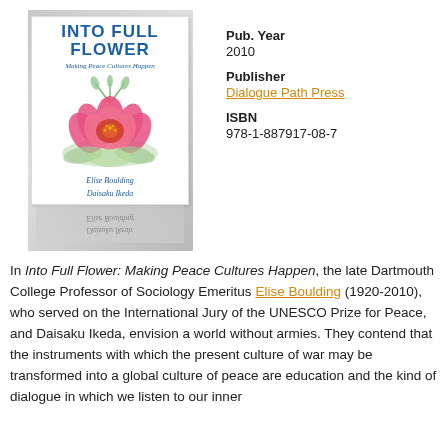[Figure (illustration): Book cover of 'Into Full Flower: Making Peace Cultures Happen' by Elise Boulding and Daisaku Ikeda, showing a pink lotus flower on a white background with blue title text, with a reflection effect below, displayed against a light gray shadow background.]
Pub. Year
2010
Publisher
Dialogue Path Press
ISBN
978-1-887917-08-7
In Into Full Flower: Making Peace Cultures Happen, the late Dartmouth College Professor of Sociology Emeritus Elise Boulding (1920-2010), who served on the International Jury of the UNESCO Prize for Peace, and Daisaku Ikeda, envision a world without armies. They contend that the instruments with which the present culture of war may be transformed into a global culture of peace are education and the kind of dialogue in which we listen to our inner